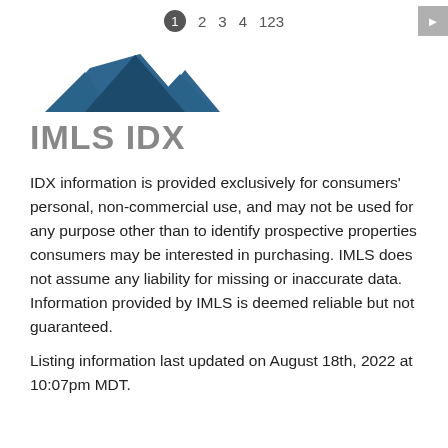1 2 3 4 123
[Figure (logo): IMLS IDX logo with mountain peaks graphic above the text 'IMLS IDX' in gray]
IDX information is provided exclusively for consumers' personal, non-commercial use, and may not be used for any purpose other than to identify prospective properties consumers may be interested in purchasing. IMLS does not assume any liability for missing or inaccurate data. Information provided by IMLS is deemed reliable but not guaranteed.
Listing information last updated on August 18th, 2022 at 10:07pm MDT.